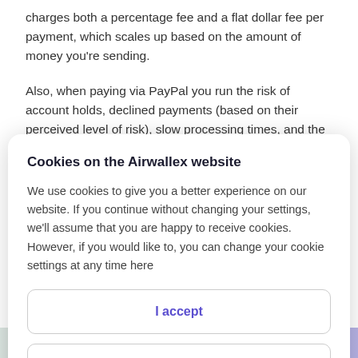charges both a percentage fee and a flat dollar fee per payment, which scales up based on the amount of money you’re sending.
Also, when paying via PayPal you run the risk of account holds, declined payments (based on their perceived level of risk), slow processing times, and the risk that…
Cookies on the Airwallex website
We use cookies to give you a better experience on our website. If you continue without changing your settings, we’ll assume that you are happy to receive cookies. However, if you would like to, you can change your cookie settings at any time here
I accept
Find out more